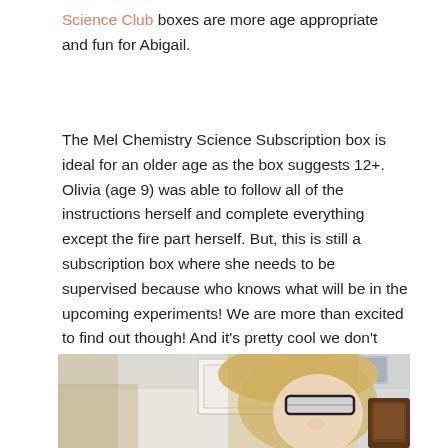Science Club boxes are more age appropriate and fun for Abigail.
The Mel Chemistry Science Subscription box is ideal for an older age as the box suggests 12+. Olivia (age 9) was able to follow all of the instructions herself and complete everything except the fire part herself. But, this is still a subscription box where she needs to be supervised because who knows what will be in the upcoming experiments! We are more than excited to find out though! And it's pretty cool we don't have to wait a whole month for another box, we can just pull it off the shelf.
[Figure (photo): A young blonde girl wearing safety goggles, looking down, with a white decorative frame visible in the background and a dark wooden chair to the right.]